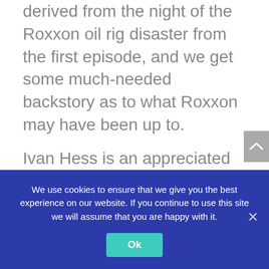derived from the night of the Roxxon oil rig disaster from the first episode, and we get some much-needed backstory as to what Roxxon may have been up to.
Ivan Hess is an appreciated third wheel to our titular dichotomous duo, as the Bill Murray of his own apocalyptic groundhogs day that lasts around thirty minutes at a time. But as the story progresses it shifts focus to Tandy, who carries a lot of emotional weight for much of the second half of this episode. Her riveting arc culminates in the examination of
We use cookies to ensure that we give you the best experience on our website. If you continue to use this site we will assume that you are happy with it.